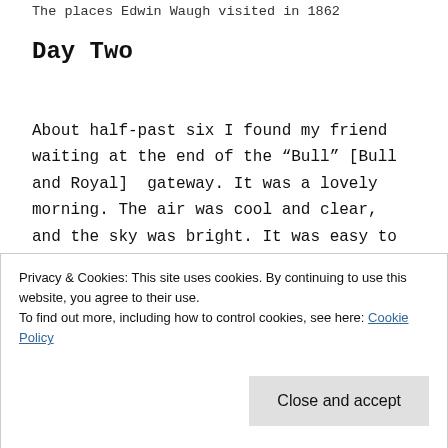The places Edwin Waugh visited in 1862
Day Two
About half-past six I found my friend waiting at the end of the “Bull” [Bull and Royal]  gateway. It was a lovely morning. The air was cool and clear, and the sky was bright. It was easy to see which was the way to the soup kitchen, by the stragglers going and coming. We passed the famous ‘Orchard’, now a kind of fairground, which has been the scene of so many popular
Privacy & Cookies: This site uses cookies. By continuing to use this website, you agree to their use.
To find out more, including how to control cookies, see here: Cookie Policy
and there, a bare-footed lass, carrying a tin can,